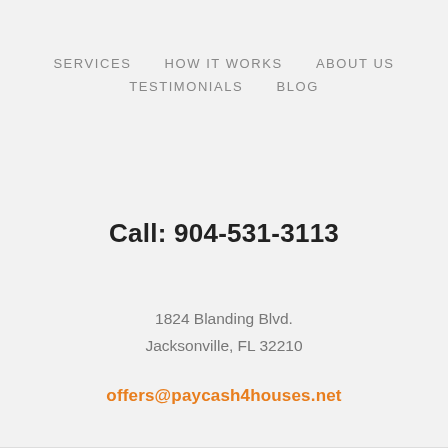SERVICES   HOW IT WORKS   ABOUT US   TESTIMONIALS   BLOG
Call: 904-531-3113
1824 Blanding Blvd.
Jacksonville, FL 32210
offers@paycash4houses.net